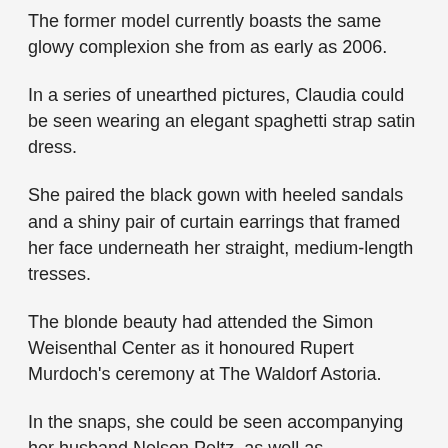The former model currently boasts the same glowy complexion she from as early as 2006.
In a series of unearthed pictures, Claudia could be seen wearing an elegant spaghetti strap satin dress.
She paired the black gown with heeled sandals and a shiny pair of curtain earrings that framed her face underneath her straight, medium-length tresses.
The blonde beauty had attended the Simon Weisenthal Center as it honoured Rupert Murdoch's ceremony at The Waldorf Astoria.
In the snaps, she could be seen accompanying her husband Nelson Peltz, as well as entrepreneur Wendi Murdoch, the now ex-wife of Rupert.
Claudia married billionaire businessman Nelson in 1985 and to accompany that and she had to At the home b...